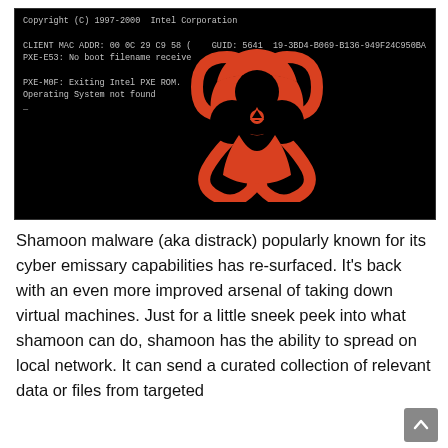[Figure (screenshot): A black terminal/BIOS screen showing PXE boot error messages and a red biohazard symbol overlaid. Text includes 'Copyright (C) 1997-2000 Intel Corporation', 'CLIENT MAC ADDR: 00 0C 29 C9 58 ... GUID: 5641...19-3BD4-B069-B136-949F24C950BA', 'PXE-E53: No boot filename received', 'PXE-M0F: Exiting Intel PXE ROM.', 'Operating System not found']
Shamoon malware (aka distrack) popularly known for its cyber emissary capabilities has re-surfaced. It's back with an even more improved arsenal of taking down virtual machines. Just for a little sneek peek into what shamoon can do, shamoon has the ability to spread on local network. It can send a curated collection of relevant data or files from targeted